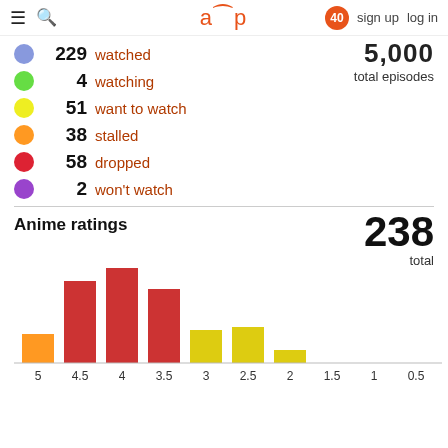≡ 🔍  a_p  40  sign up  log in
5,000+ total episodes (partially visible)
229  watched
4  watching
51  want to watch
38  stalled
58  dropped
2  won't watch
Anime ratings
238
total
[Figure (bar-chart): Anime ratings]